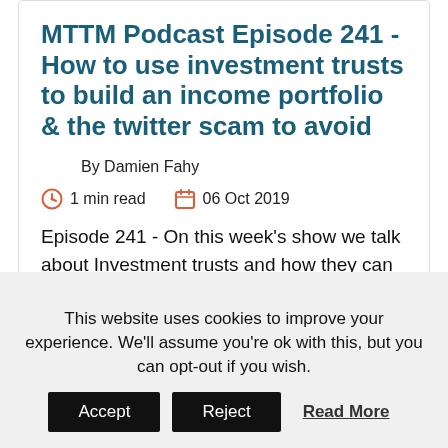MTTM Podcast Episode 241 - How to use investment trusts to build an income portfolio & the twitter scam to avoid
By Damien Fahy
1 min read   06 Oct 2019
Episode 241 - On this week's show we talk about Investment trusts and how they can be used to build a portfolio that provides a reliable income. Take out a...
This website uses cookies to improve your experience. We'll assume you're ok with this, but you can opt-out if you wish.